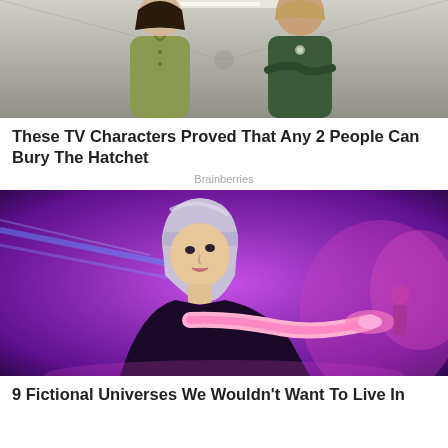[Figure (photo): Two women standing in a corridor, one in olive/yellow-green top, one in dark green dress with arms crossed]
These TV Characters Proved That Any 2 People Can Bury The Hatchet
Brainberries
[Figure (photo): Sci-fi scene with a woman with silver/lavender bob haircut pointing her finger, surrounded by purple and magenta light, from a futuristic movie or game]
9 Fictional Universes We Wouldn't Want To Live In